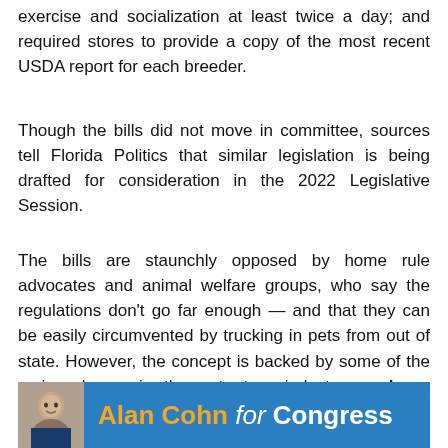exercise and socialization at least twice a day; and required stores to provide a copy of the most recent USDA report for each breeder.
Though the bills did not move in committee, sources tell Florida Politics that similar legislation is being drafted for consideration in the 2022 Legislative Session.
The bills are staunchly opposed by home rule advocates and animal welfare groups, who say the regulations don't go far enough — and that they can be easily circumvented by trucking in pets from out of state. However, the concept is backed by some of the major players in the pet store industry, such as Petland.
[Figure (photo): Advertisement banner for Alan Cohn for Congress, showing a man's photo on the left against a blue background with the text 'Alan Cohn for Congress' in orange and white.]